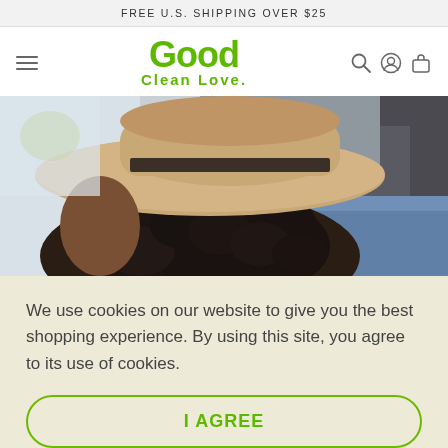FREE U.S. SHIPPING OVER $25
[Figure (logo): Good Clean Love logo with green text]
[Figure (photo): Person with curly hair wearing a tan wide-brim hat, lying back, blurred indoor background]
We use cookies on our website to give you the best shopping experience. By using this site, you agree to its use of cookies.
I AGREE